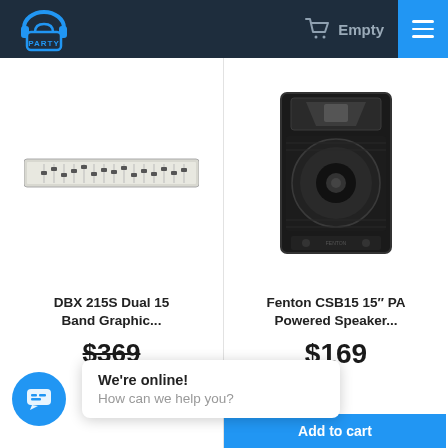PARTY store header with logo, Empty cart, and hamburger menu
[Figure (screenshot): DBX 215S Dual 15 Band Graphic Equalizer product image - a rack-mounted unit shown horizontally]
DBX 215S Dual 15 Band Graphic...
$369
[Figure (screenshot): Fenton CSB15 15 inch PA Powered Speaker - a large black cabinet speaker]
Fenton CSB15 15″ PA Powered Speaker...
$169
Add to cart
We're online!
How can we help you?